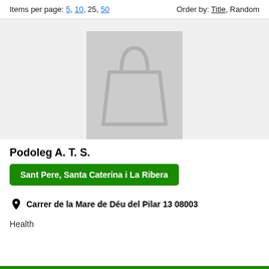Items per page: 5, 10, 25, 50   Order by: Title, Random
[Figure (illustration): Placeholder shopping bag icon on grey background]
Podoleg A. T. S.
Sant Pere, Santa Caterina i La Ribera
Carrer de la Mare de Déu del Pilar 13 08003
Health